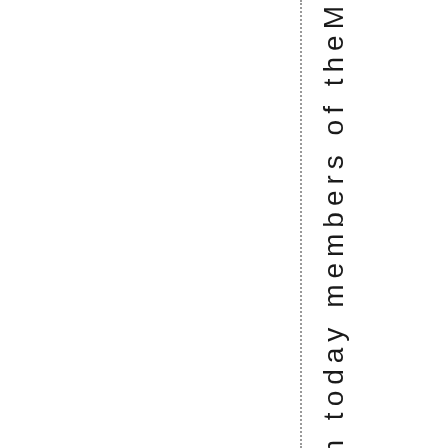mately 2:00pm today members of theM